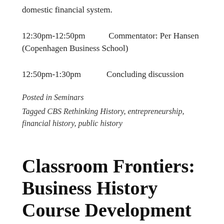domestic financial system.
12:30pm-12:50pm    Commentator: Per Hansen (Copenhagen Business School)
12:50pm-1:30pm    Concluding discussion
Posted in Seminars
Tagged CBS Rethinking History, entrepreneurship, financial history, public history
Classroom Frontiers: Business History Course Development Workshop